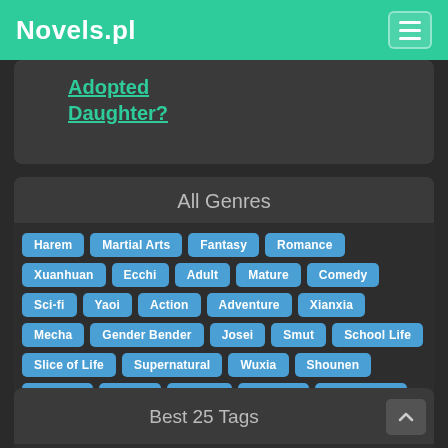Novels.pl
Adopted Daughter?
All Genres
Harem
Martial Arts
Fantasy
Romance
Xuanhuan
Ecchi
Adult
Mature
Comedy
Sci-fi
Yaoi
Action
Adventure
Xianxia
Mecha
Gender Bender
Josei
Smut
School Life
Slice of Life
Supernatural
Wuxia
Shounen
Mystery
Drama
Seinen
Tragedy
Shounen Ai
Yuri
Psychological
Horror
Shoujo
Historical
Sports
Shoujo Ai
Fanfiction
Game
Best 25 Tags
Overpowered Protagonist
R-18
Level System
Game Elements